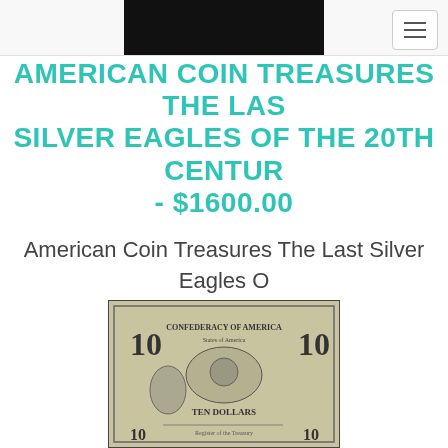AMERICAN COIN TREASURES THE LAST SILVER EAGLES OF THE 20TH CENTURY - $1600.00
American Coin Treasures The Last Silver Eagles Of The 20th Century
[Figure (photo): Photograph of a Confederate States of America $10 banknote with engraved imagery]